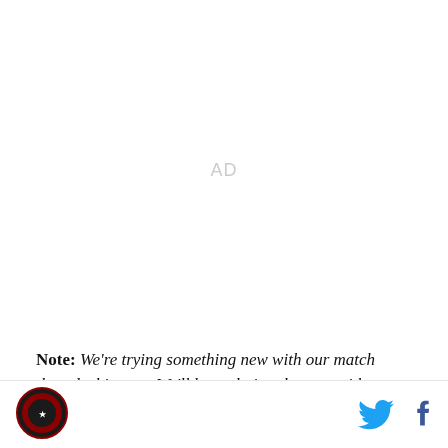[Figure (other): AD placeholder area — large blank white space with light gray 'AD' text centered]
Note: We're trying something new with our match threads this year. We'll be updating the post with
[Figure (logo): Circular red/black sports team logo in bottom left footer]
[Figure (other): Twitter bird icon (cyan/blue) and Facebook 'f' icon (blue) in bottom right footer]